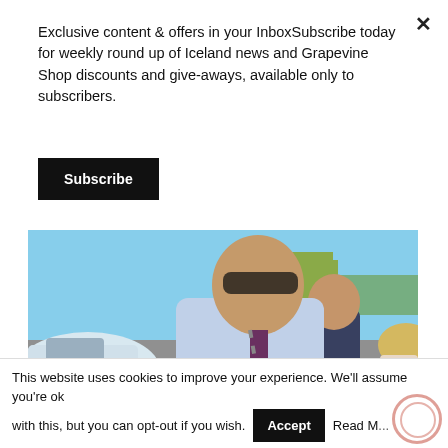Exclusive content & offers in your InboxSubscribe today for weekly round up of Iceland news and Grapevine Shop discounts and give-aways, available only to subscribers.
Subscribe
[Figure (photo): A man in a blue shirt and striped tie wearing sunglasses standing near a small aircraft on a tarmac, with other people in the background and a building visible.]
This website uses cookies to improve your experience. We'll assume you're ok with this, but you can opt-out if you wish.
Accept
Read M...